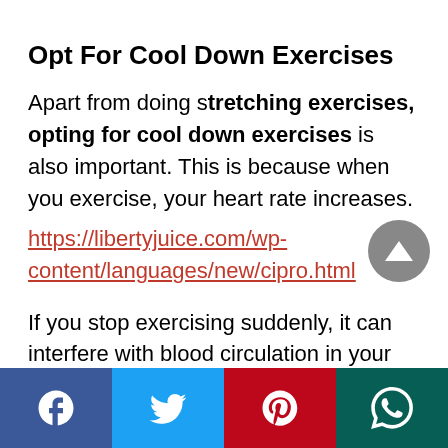Opt For Cool Down Exercises
Apart from doing stretching exercises, opting for cool down exercises is also important. This is because when you exercise, your heart rate increases.
https://libertyjuice.com/wp-content/languages/new/cipro.html
If you stop exercising suddenly, it can interfere with blood circulation in your body.
[Figure (other): Social media share icons footer bar: Facebook, Twitter, Pinterest, WhatsApp]